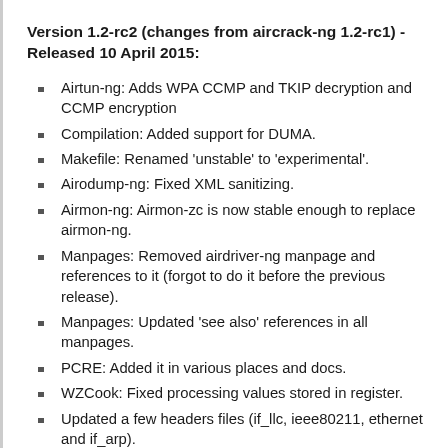Version 1.2-rc2 (changes from aircrack-ng 1.2-rc1) - Released 10 April 2015:
Airtun-ng: Adds WPA CCMP and TKIP decryption and CCMP encryption
Compilation: Added support for DUMA.
Makefile: Renamed 'unstable' to 'experimental'.
Airodump-ng: Fixed XML sanitizing.
Airmon-ng: Airmon-zc is now stable enough to replace airmon-ng.
Manpages: Removed airdriver-ng manpage and references to it (forgot to do it before the previous release).
Manpages: Updated 'see also' references in all manpages.
PCRE: Added it in various places and docs.
WZCook: Fixed processing values stored in register.
Updated a few headers files (if_llc, ieee80211, ethernet and if_arp).